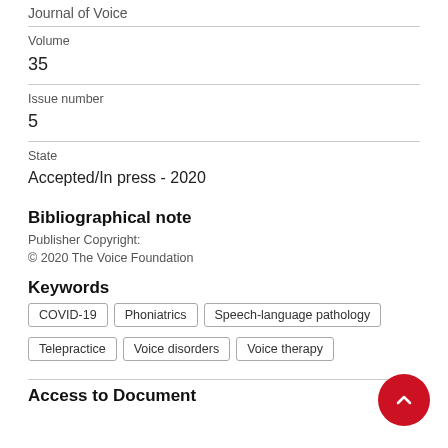Journal of Voice
Volume
35
Issue number
5
State
Accepted/In press - 2020
Bibliographical note
Publisher Copyright:
© 2020 The Voice Foundation
Keywords
COVID-19
Phoniatrics
Speech-language pathology
Telepractice
Voice disorders
Voice therapy
Access to Document